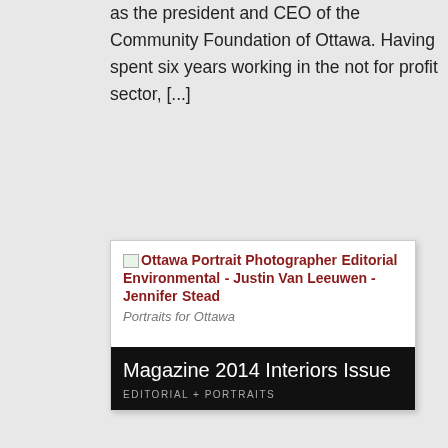as the president and CEO of the Community Foundation of Ottawa. Having spent six years working in the not for profit sector, [...]
[Figure (screenshot): Blog post card thumbnail showing 'Ottawa Portrait Photographer Editorial Environmental Portraits for Ottawa Magazine 2014 Interiors Issue' with subtitle 'EDITORIAL + PORTRAITS' on a dark background]
Jan 27, 2014 · Comments Off
It's no secret that my favourite thing about photography is all the people I get to meet. I especially love taking their portraits in environmental situations that are